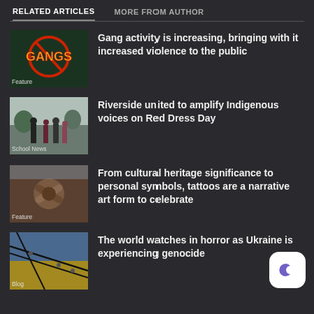RELATED ARTICLES   MORE FROM AUTHOR
[Figure (screenshot): Thumbnail image with GANGS anti-gang logo in dark green background]
Gang activity is increasing, bringing with it increased violence to the public
Feature
[Figure (photo): People gathered outdoors, Red Dress Day event]
Riverside united to amplify Indigenous voices on Red Dress Day
School News
[Figure (photo): Hands joined together in a circle, diverse group]
From cultural heritage significance to personal symbols, tattoos are a narrative art form to celebrate
Feature
[Figure (photo): Ukraine flag blue and yellow with barbed wire]
The world watches in horror as Ukraine is experiencing genocide
Blog